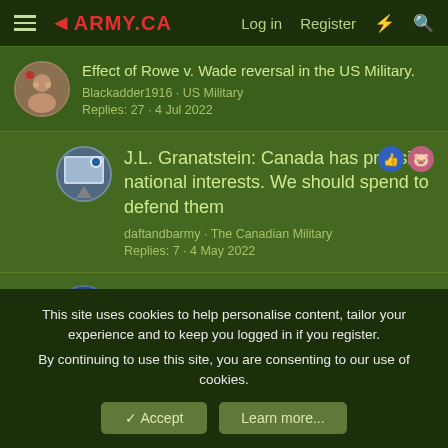Army.ca — Log in · Register
Effect of Rowe v. Wade reversal in the US Military.
Blackadder1916 · US Military
Replies: 27 · 4 Jul 2022
J.L. Granatstein: Canada has pressing national interests. We should spend to defend them
daftandbarmy · The Canadian Military
Replies: 7 · 4 May 2022
MND Mandate Letter
This site uses cookies to help personalise content, tailor your experience and to keep you logged in if you register.
By continuing to use this site, you are consenting to our use of cookies.